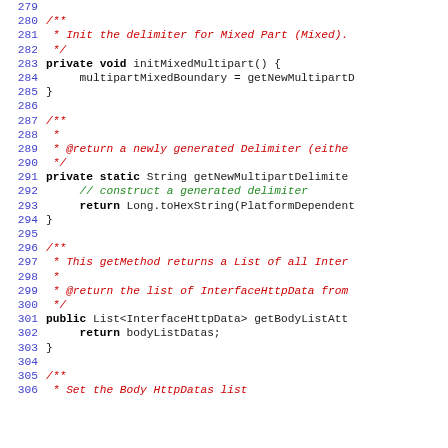[Figure (screenshot): Source code listing showing Java methods with line numbers 279-306, including initMixedMultipart(), getNewMultipartDelimite(), and getBodyListAtt() methods with Javadoc comments]